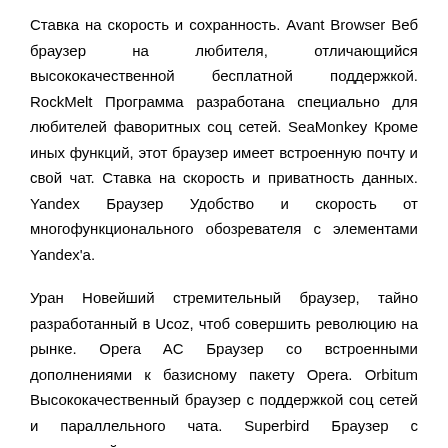Ставка на скорость и сохранность. Avant Browser Веб браузер на любителя, отличающийся высококачественной бесплатной поддержкой. RockMelt Программа разработана специально для любителей фаворитных соц сетей. SeaMonkey Кроме иных функций, этот браузер имеет встроенную почту и свой чат. Ставка на скорость и приватность данных. Yandex Браузер Удобство и скорость от многофункционального обозревателя с элементами Yandex'a.
Уран Новейший стремительный браузер, тайно разработанный в Ucoz, чтоб совершить революцию на рынке. Opera AC Браузер со встроенными дополнениями к базисному пакету Opera. Orbitum Высококачественный браузер с поддержкой соц сетей и параллельного чата. Superbird Браузер с завышенной сохранностью